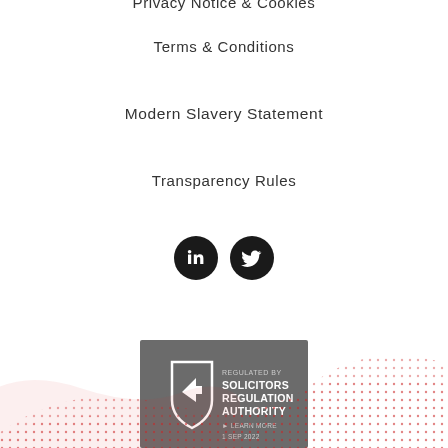Terms & Conditions
Modern Slavery Statement
Transparency Rules
[Figure (illustration): LinkedIn and Twitter social media icons as dark circular buttons]
[Figure (logo): Regulated by Solicitors Regulation Authority badge with shield icon, dated 1 Sep 2022]
[Figure (illustration): Decorative red dot wave pattern at bottom of page]